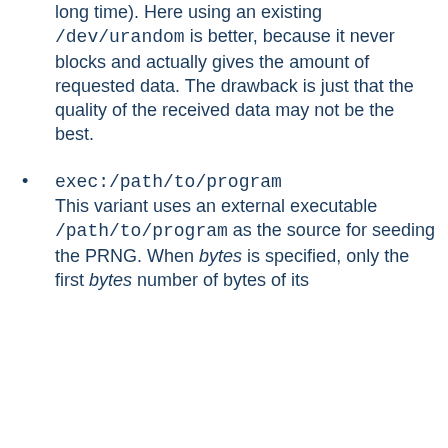long time). Here using an existing /dev/urandom is better, because it never blocks and actually gives the amount of requested data. The drawback is just that the quality of the received data may not be the best.
exec:/path/to/program This variant uses an external executable /path/to/program as the source for seeding the PRNG. When bytes is specified, only the first bytes number of bytes of its